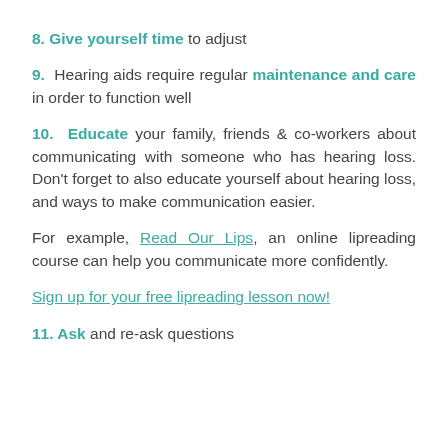8. Give yourself time to adjust
9. Hearing aids require regular maintenance and care in order to function well
10. Educate your family, friends & co-workers about communicating with someone who has hearing loss. Don’t forget to also educate yourself about hearing loss, and ways to make communication easier.
For example, Read Our Lips, an online lipreading course can help you communicate more confidently.
Sign up for your free lipreading lesson now!
11. Ask and re-ask questions